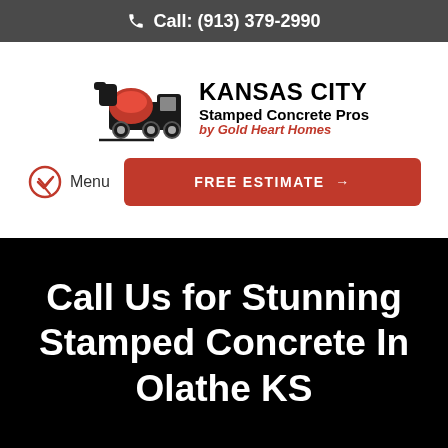Call: (913) 379-2990
[Figure (logo): Kansas City Stamped Concrete Pros by Gold Heart Homes - concrete mixer truck logo]
Menu
FREE ESTIMATE →
Call Us for Stunning Stamped Concrete In Olathe KS